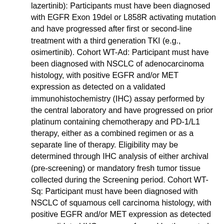lazertinib): Participants must have been diagnosed with EGFR Exon 19del or L858R activating mutation and have progressed after first or second-line treatment with a third generation TKI (e.g., osimertinib). Cohort WT-Ad: Participant must have been diagnosed with NSCLC of adenocarcinoma histology, with positive EGFR and/or MET expression as detected on a validated immunohistochemistry (IHC) assay performed by the central laboratory and have progressed on prior platinum containing chemotherapy and PD-1/L1 therapy, either as a combined regimen or as a separate line of therapy. Eligibility may be determined through IHC analysis of either archival (pre-screening) or mandatory fresh tumor tissue collected during the Screening period. Cohort WT-Sq: Participant must have been diagnosed with NSCLC of squamous cell carcinoma histology, with positive EGFR and/or MET expression as detected on a validated IHC assay performed by the central laboratory and have progressed on prior platinum-containing chemotherapy and PD-1/L1 therapy, either as a combined regimen or as a separate line of therapy. Eligibility